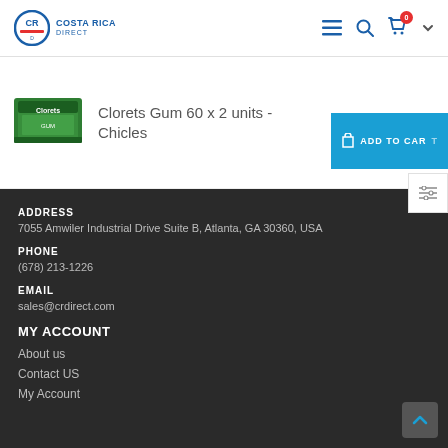Costa Rica Direct — navigation header with logo, hamburger menu, search, cart (0), and dropdown
[Figure (photo): Product image: box of Clorets Gum 60 x 2 units - Chicles (green packaging)]
Clorets Gum 60 x 2 units - Chicles
ADD TO CART
ADDRESS
7055 Amwiler Industrial Drive Suite B, Atlanta, GA 30360, USA
PHONE
(678) 213-1226
EMAIL
sales@crdirect.com
MY ACCOUNT
About us
Contact US
My Account